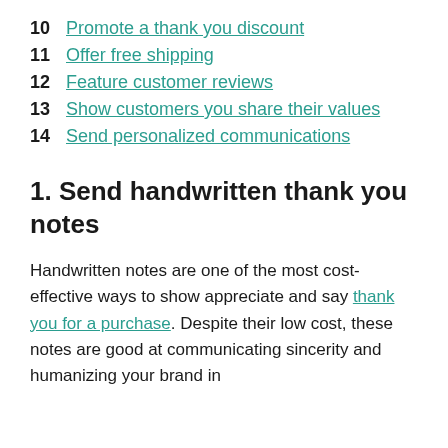10  Promote a thank you discount
11  Offer free shipping
12  Feature customer reviews
13  Show customers you share their values
14  Send personalized communications
1. Send handwritten thank you notes
Handwritten notes are one of the most cost-effective ways to show appreciate and say thank you for a purchase. Despite their low cost, these notes are good at communicating sincerity and humanizing your brand in